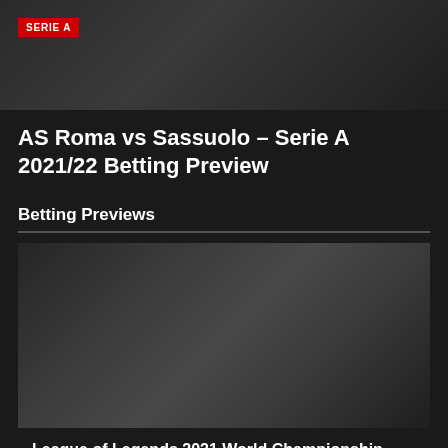[Figure (photo): Dark gradient header image with SERIE A red badge label in top left corner]
AS Roma vs Sassuolo – Serie A 2021/22 Betting Preview
Betting Previews
[Figure (photo): Dark gradient image card for League of Legends 2021 World Championship Betting Preview article]
League of Legends 2021 World Championship Betting Preview